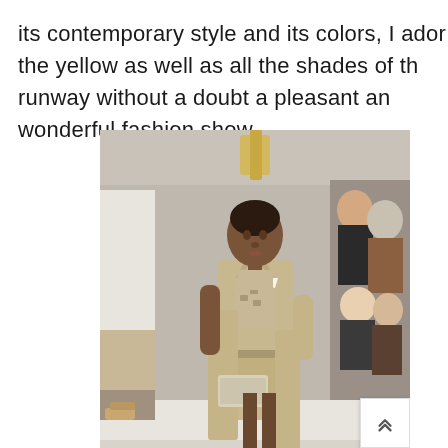its contemporary style and its colors, I adore the yellow as well as all the shades of the runway without a doubt a pleasant and wonderful fashion show.
[Figure (photo): A fashion runway show photo featuring a model walking the catwalk wearing a beige/tan trench coat over a patterned blouse and shorts, carrying a clutch bag. Audience members are visible on both sides seated along the runway. The setting appears to be an indoor fashion show with bright lighting.]